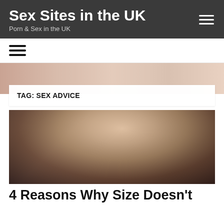Sex Sites in the UK
Porn & Sex in the UK
[Figure (photo): Website header banner with partial image of a woman in lingerie lying down]
TAG: SEX ADVICE
[Figure (photo): Woman in red lingerie posing from behind against a wall]
4 Reasons Why Size Doesn't